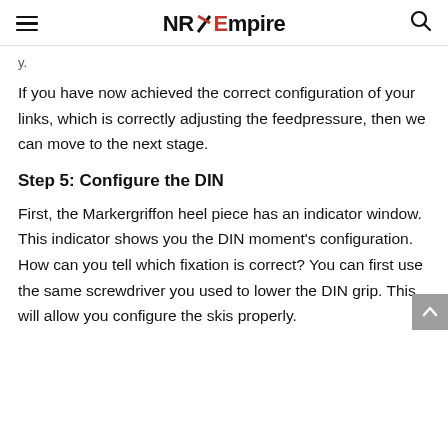NRX Empire
If you have now achieved the correct configuration of your links, which is correctly adjusting the feedpressure, then we can move to the next stage.
Step 5: Configure the DIN
First, the Markergriffon heel piece has an indicator window. This indicator shows you the DIN moment's configuration. How can you tell which fixation is correct? You can first use the same screwdriver you used to lower the DIN grip. This will allow you configure the skis properly.